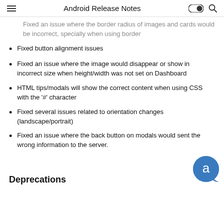Android Release Notes
Fixed an issue where the border radius of images and cards would be incorrect, specially when using border
Fixed button alignment issues
Fixed an issue where the image would disappear or show in incorrect size when height/width was not set on Dashboard
HTML tips/modals will show the correct content when using CSS with the '#' character
Fixed several issues related to orientation changes (landscape/portrait)
Fixed an issue where the back button on modals would sent the wrong information to the server.
Deprecations